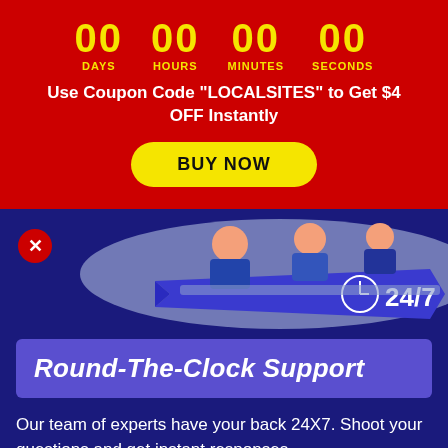[Figure (infographic): Countdown timer showing 00 DAYS, 00 HOURS, 00 MINUTES, 00 SECONDS on red background with coupon code and BUY NOW button]
Use Coupon Code "LOCALSITES" to Get $4 OFF Instantly
[Figure (illustration): Illustration of people at desks with a blue ribbon banner showing a clock icon and 24/7 text, with a red X close button on the left]
Round-The-Clock Support
Our team of experts have your back 24X7. Shoot your questions and get instant responses.
To help your profit-making journey take flight, you additionally get access to our exclusive chat